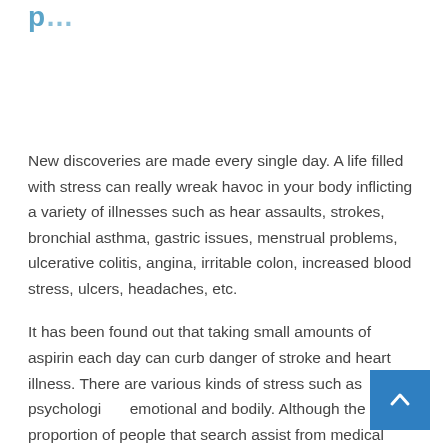p... [partial title cropped]
New discoveries are made every single day. A life filled with stress can really wreak havoc in your body inflicting a variety of illnesses such as hear assaults, strokes, bronchial asthma, gastric issues, menstrual problems, ulcerative colitis, angina, irritable colon, increased blood stress, ulcers, headaches, etc.
It has been found out that taking small amounts of aspirin each day can curb danger of stroke and heart illness. There are various kinds of stress such as psychological, emotional and bodily. Although the proportion of people that search assist from medical professionals is greater